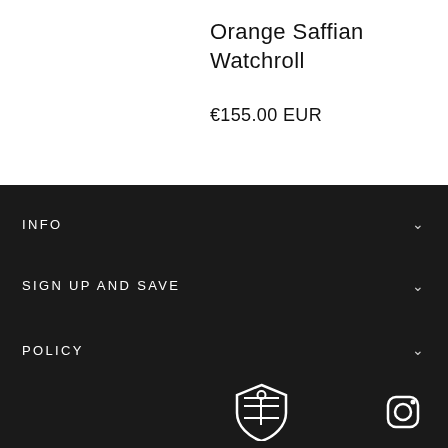Orange Saffian Watchroll
€155.00 EUR
INFO
SIGN UP AND SAVE
POLICY
[Figure (logo): Shield/crest brand logo in white on dark background]
[Figure (logo): Instagram icon in white on dark background]